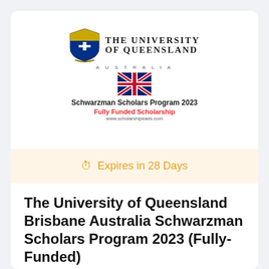[Figure (logo): The University of Queensland crest/shield logo alongside UQ name, Australian flag, Schwarzman Scholars Program 2023 text, Fully Funded Scholarship label, and website URL]
⏰ Expires in 28 Days
The University of Queensland Brisbane Australia Schwarzman Scholars Program 2023 (Fully-Funded)